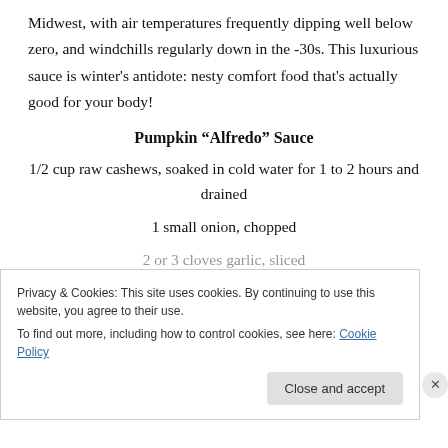Midwest, with air temperatures frequently dipping well below zero, and windchills regularly down in the -30s. This luxurious sauce is winter's antidote: nesty comfort food that's actually good for your body!
Pumpkin “Alfredo” Sauce
1/2 cup raw cashews, soaked in cold water for 1 to 2 hours and drained
1 small onion, chopped
2 or 3 cloves garlic, sliced
Privacy & Cookies: This site uses cookies. By continuing to use this website, you agree to their use.
To find out more, including how to control cookies, see here: Cookie Policy